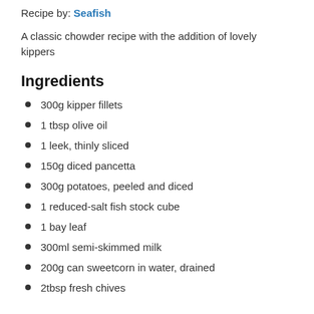Recipe by: Seafish
A classic chowder recipe with the addition of lovely kippers
Ingredients
300g kipper fillets
1 tbsp olive oil
1 leek, thinly sliced
150g diced pancetta
300g potatoes, peeled and diced
1 reduced-salt fish stock cube
1 bay leaf
300ml semi-skimmed milk
200g can sweetcorn in water, drained
2tbsp fresh chives